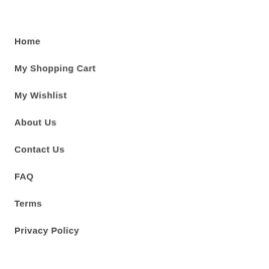Home
My Shopping Cart
My Wishlist
About Us
Contact Us
FAQ
Terms
Privacy Policy